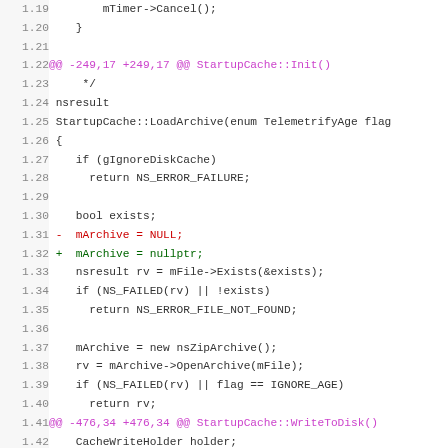[Figure (other): Source code diff showing changes to StartupCache C++ file, lines 1.19 through 1.50, with diff markers and syntax highlighting]